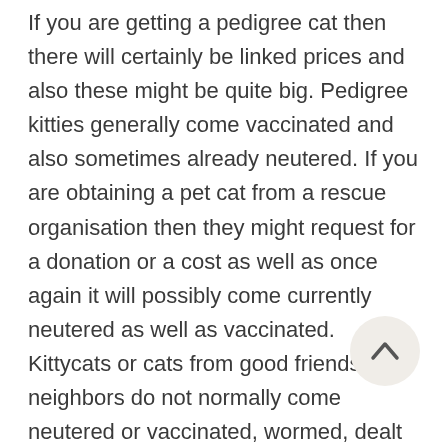If you are getting a pedigree cat then there will certainly be linked prices and also these might be quite big. Pedigree kitties generally come vaccinated and also sometimes already neutered. If you are obtaining a pet cat from a rescue organisation then they might request for a donation or a cost as well as once again it will possibly come currently neutered as well as vaccinated. Kittycats or cats from good friends or neighbors do not normally come neutered or vaccinated, wormed, dealt with for fleas or anything else and it will depend on you to register with a veterinarian as well as get these things done. Sterilizing is clearly a one-off price, yet numerous inoculations will be called for to see to it that a kitten is secured from contagious diseases; thereafter a normal booster inoculation will help to protect it during its life (demands depend on the pet cat's way of life as well as dangers connected with that; every veterinarian can suggest you)